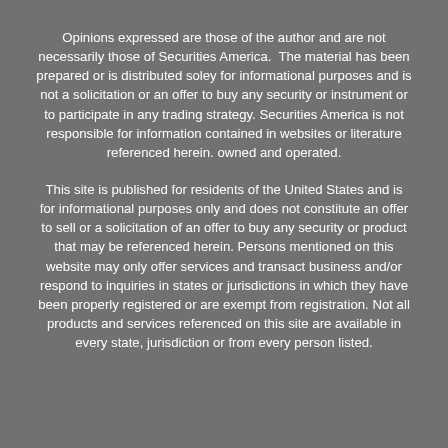Opinions expressed are those of the author and are not necessarily those of Securities America.  The material has been prepared or is distributed soley for informational purposes and is not a solicitation or an offer to buy any security or instrument or to participate in any trading strategy. Securities America is not responsible for information contained in websites or literature referenced herein. owned and operated.
This site is published for residents of the United States and is for informational purposes only and does not constitute an offer to sell or a solicitation of an offer to buy any security or product that may be referenced herein. Persons mentioned on this website may only offer services and transact business and/or respond to inquiries in states or jurisdictions in which they have been properly registered or are exempt from registration. Not all products and services referenced on this site are available in every state, jurisdiction or from every person listed.